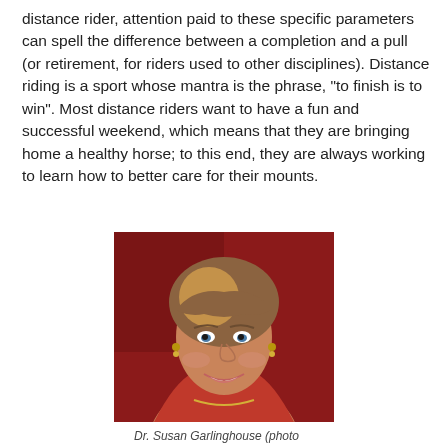distance rider, attention paid to these specific parameters can spell the difference between a completion and a pull (or retirement, for riders used to other disciplines). Distance riding is a sport whose mantra is the phrase, "to finish is to win". Most distance riders want to have a fun and successful weekend, which means that they are bringing home a healthy horse; to this end, they are always working to learn how to better care for their mounts.
[Figure (photo): Portrait photo of Dr. Susan Garlinghouse, a woman with long brown/blonde hair, wearing a red dress and gold necklace, smiling, against a red background.]
Dr. Susan Garlinghouse (photo from AERC)